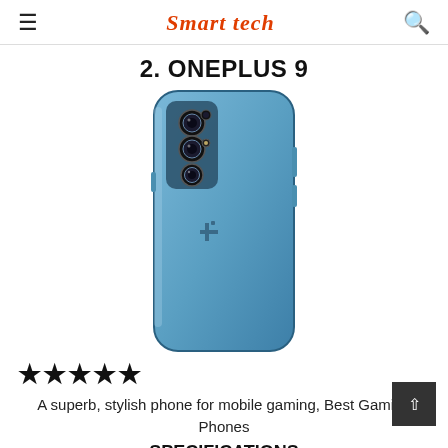Smart tech
2. ONEPLUS 9
[Figure (photo): Back view of OnePlus 9 smartphone in blue color with triple camera module and OnePlus logo]
★★★★★
A superb, stylish phone for mobile gaming, Best Gaming Phones
SPECIFICATIONS